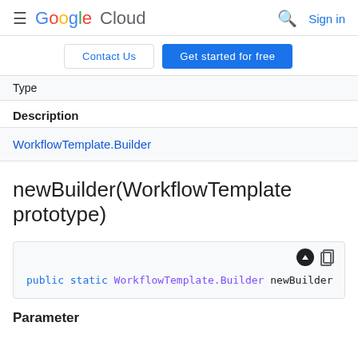Google Cloud  Sign in
Contact Us  Get started for free
Type
Description
WorkflowTemplate.Builder
newBuilder(WorkflowTemplate prototype)
public static WorkflowTemplate.Builder newBuilder
Parameter